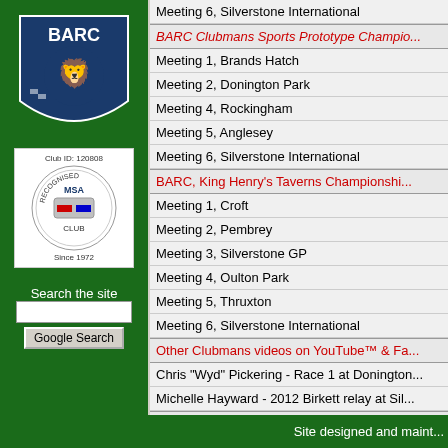[Figure (logo): BARC lion shield logo on dark green background]
[Figure (logo): MSA Recognised Club badge with text 'Club ID: 120808' and 'Since 1972']
Search the site
Meeting 6, Silverstone International
BARC Clubmans Sports Prototype Champio...
Meeting 1, Brands Hatch
Meeting 2, Donington Park
Meeting 4, Rockingham
Meeting 5, Anglesey
Meeting 6, Silverstone International
BARC, King Henry's Taverns Championshi...
Meeting 1, Croft
Meeting 2, Pembrey
Meeting 3, Silverstone GP
Meeting 4, Oulton Park
Meeting 5, Thruxton
Meeting 6, Silverstone International
Other Clubmans videos on YouTube™ & Fa...
Chris "Wyd" Pickering - Race 1 at Donington...
Michelle Hayward - 2012 Birkett relay at Sil...
A lap of...
| Circuit |  |
| --- | --- |
| Croix en Ternois | Matth... |
| Thruxton | In ... |